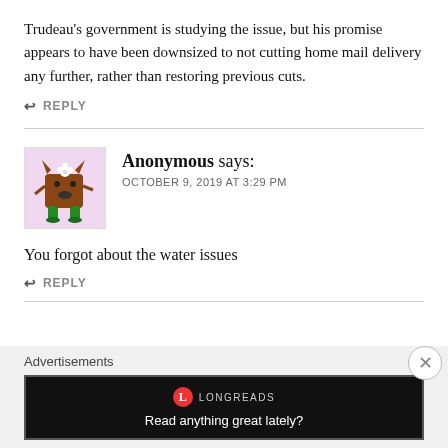Trudeau's government is studying the issue, but his promise appears to have been downsized to not cutting home mail delivery any further, rather than restoring previous cuts.
↩ REPLY
[Figure (illustration): Avatar illustration of a brown monster character with horns, white flowers on head, and green legs, on a pink/lavender background]
Anonymous says: OCTOBER 9, 2019 AT 3:29 PM
You forgot about the water issues
↩ REPLY
Advertisements
[Figure (screenshot): Longreads advertisement banner with black background reading 'Read anything great lately?']